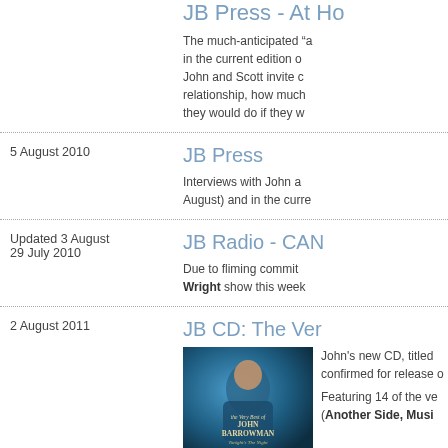5 August 2010
JB Press - At H...
The much-anticipated "... in the current edition o... John and Scott invite c... relationship, how much... they would do if they w...
5 August 2010
JB Press
Interviews with John a... August) and in the curre...
Updated 3 August 29 July 2010
JB Radio - CAN...
Due to fliming commit... Wright show this week...
2 August 2011
JB CD: The Ver...
[Figure (photo): Album cover for The Very Best of John Barrowman - Tonight's The Night, showing John Barrowman in a blue-toned photo]
John's new CD, titled ... confirmed for release o...
Featuring 14 of the ve... (Another Side, Musi...